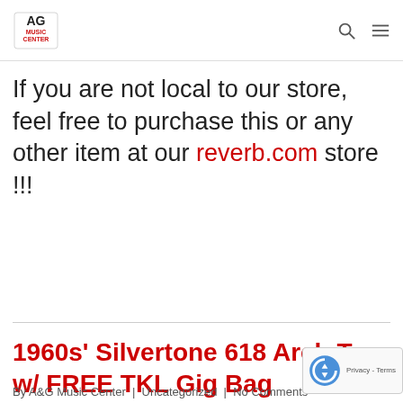AG Music Center
If you are not local to our store, feel free to purchase this or any other item at our reverb.com store !!!
1960s' Silvertone 618 Arch Top w/ FREE TKL Gig Bag
By A&G Music Center | Uncategorized | No Comments